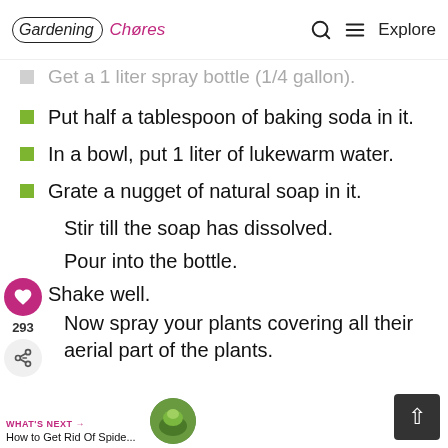Gardening Chores  Q  ≡ Explore
Get a 1 liter spray bottle (1/4 gallon).
Put half a tablespoon of baking soda in it.
In a bowl, put 1 liter of lukewarm water.
Grate a nugget of natural soap in it.
Stir till the soap has dissolved.
Pour into the bottle.
Shake well.
Now spray your plants covering all their aerial part of the plants.